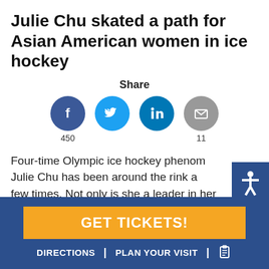Julie Chu skated a path for Asian American women in ice hockey
Share
[Figure (other): Social share buttons: Facebook (450), Twitter, LinkedIn, Email (11)]
Four-time Olympic ice hockey phenom Julie Chu has been around the rink a few times. Not only is she a leader in her sport, but she is a pioneer for both women and Asian American athletes across the nation.
GET TICKETS!
DIRECTIONS | PLAN YOUR VISIT